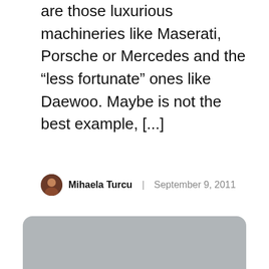are those luxurious machineries like Maserati, Porsche or Mercedes and the “less fortunate” ones like Daewoo. Maybe is not the best example, [...]
Mihaela Turcu | September 9, 2011
[Figure (photo): Gray placeholder image with rounded corners]